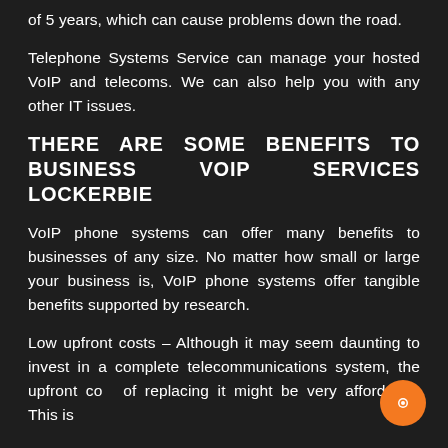of 5 years, which can cause problems down the road.
Telephone Systems Service can manage your hosted VoIP and telecoms. We can also help you with any other IT issues.
THERE ARE SOME BENEFITS TO BUSINESS VOIP SERVICES LOCKERBIE
VoIP phone systems can offer many benefits to businesses of any size. No matter how small or large your business is, VoIP phone systems offer tangible benefits supported by research.
Low upfront costs – Although it may seem daunting to invest in a complete telecommunications system, the upfront cost of replacing it might be very affordable. This is